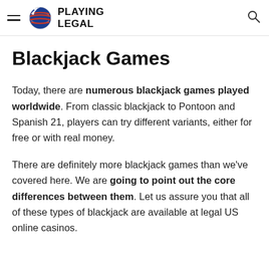PLAYING LEGAL
Blackjack Games
Today, there are numerous blackjack games played worldwide. From classic blackjack to Pontoon and Spanish 21, players can try different variants, either for free or with real money.
There are definitely more blackjack games than we've covered here. We are going to point out the core differences between them. Let us assure you that all of these types of blackjack are available at legal US online casinos.